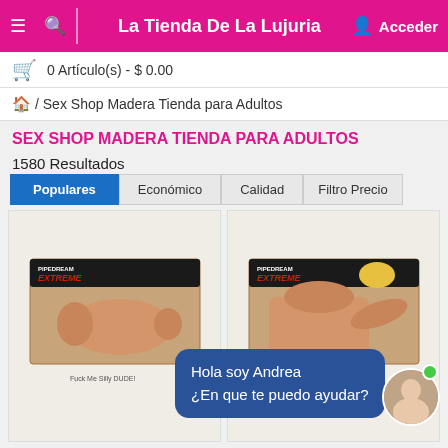La Tienda De La Lujuria | Acceder
0 Artículo(s) - $ 0.00
/ Sex Shop Madera Tienda para Adultos
SEX SHOP MADERA TIENDA PARA ADULTOS
1580 Resultados
Populares | Económico | Calidad | Filtro Precio
[Figure (screenshot): Two Pipedream Extreme product boxes showing adult novelty items]
Hola soy Andrea ¿En que te puedo ayudar?